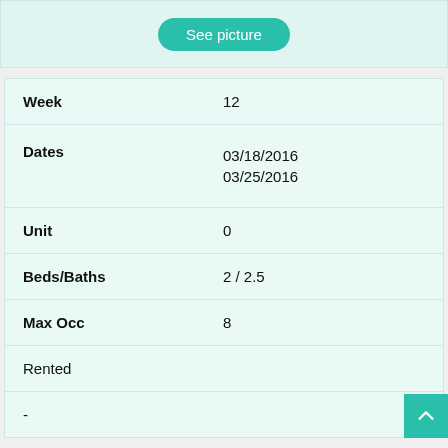[Figure (other): Top bar with 'See picture' teal button]
| Week | 12 |
| Dates | 03/18/2016
03/25/2016 |
| Unit | 0 |
| Beds/Baths | 2 / 2.5 |
| Max Occ | 8 |
| Rented |  |
| - |  |